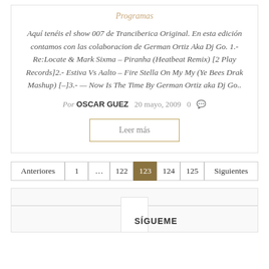Programas
Aquí tenéis el show 007 de Tranciberica Original. En esta edición contamos con las colaboracion de German Ortiz Aka Dj Go. 1.- Re:Locate & Mark Sixma – Piranha (Heatbeat Remix) [2 Play Records]2.- Estiva Vs Aalto – Fire Stella On My My (Ye Bees Drak Mashup) [–]3.- — Now Is The Time By German Ortiz aka Dj Go..
Por OSCAR GUEZ  20 mayo, 2009  0
Leer más
Anteriores
1
...
122
123
124
125
Siguientes
SÍGUEME